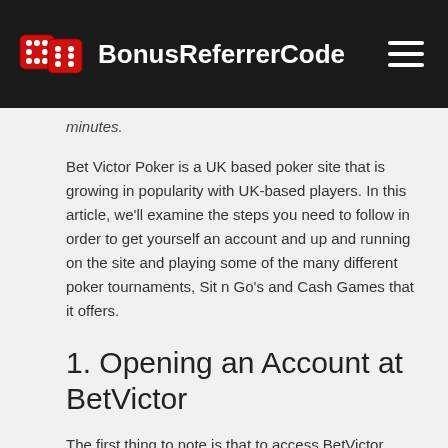BonusReferrerCode
minutes.
Bet Victor Poker is a UK based poker site that is growing in popularity with UK-based players. In this article, we'll examine the steps you need to follow in order to get yourself an account and up and running on the site and playing some of the many different poker tournaments, Sit n Go's and Cash Games that it offers.
1. Opening an Account at BetVictor
The first thing to note is that to access BetVictor Poker, you do need a BetVictor account. If you already have an existing